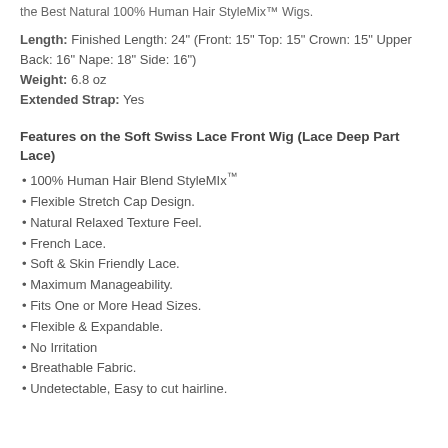the Best Natural 100% Human Hair StyleMix™ Wigs.
Length: Finished Length: 24" (Front: 15" Top: 15" Crown: 15" Upper Back: 16" Nape: 18" Side: 16")
Weight: 6.8 oz
Extended Strap: Yes
Features on the Soft Swiss Lace Front Wig (Lace Deep Part Lace)
• 100% Human Hair Blend StyleMIx™
• Flexible Stretch Cap Design.
• Natural Relaxed Texture Feel.
• French Lace.
• Soft & Skin Friendly Lace.
• Maximum Manageability.
• Fits One or More Head Sizes.
• Flexible & Expandable.
• No Irritation
• Breathable Fabric.
• Undetectable, Easy to cut hairline.